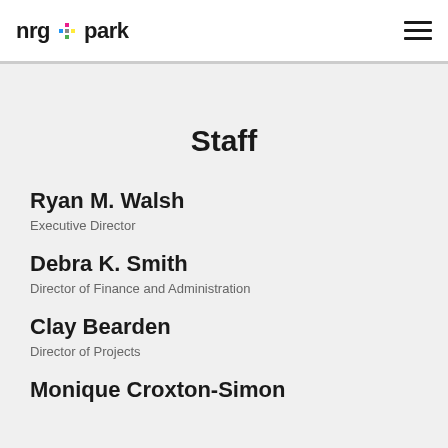nrg park
Staff
Ryan M. Walsh
Executive Director
Debra K. Smith
Director of Finance and Administration
Clay Bearden
Director of Projects
Monique Croxton-Simon